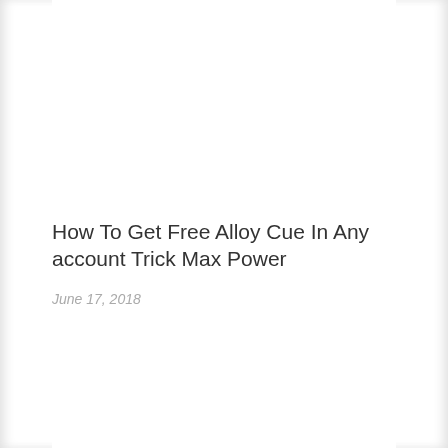How To Get Free Alloy Cue In Any account Trick Max Power
June 17, 2018